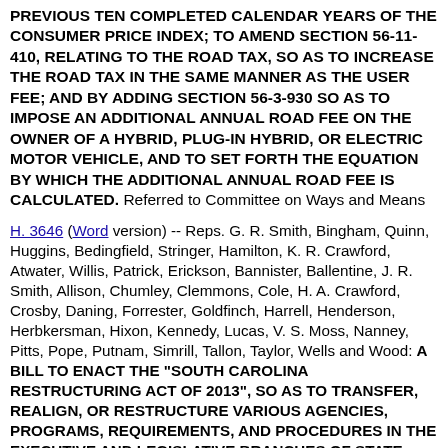PREVIOUS TEN COMPLETED CALENDAR YEARS OF THE CONSUMER PRICE INDEX; TO AMEND SECTION 56-11-410, RELATING TO THE ROAD TAX, SO AS TO INCREASE THE ROAD TAX IN THE SAME MANNER AS THE USER FEE; AND BY ADDING SECTION 56-3-930 SO AS TO IMPOSE AN ADDITIONAL ANNUAL ROAD FEE ON THE OWNER OF A HYBRID, PLUG-IN HYBRID, OR ELECTRIC MOTOR VEHICLE, AND TO SET FORTH THE EQUATION BY WHICH THE ADDITIONAL ANNUAL ROAD FEE IS CALCULATED. Referred to Committee on Ways and Means
H. 3646 (Word version) -- Reps. G. R. Smith, Bingham, Quinn, Huggins, Bedingfield, Stringer, Hamilton, K. R. Crawford, Atwater, Willis, Patrick, Erickson, Bannister, Ballentine, J. R. Smith, Allison, Chumley, Clemmons, Cole, H. A. Crawford, Crosby, Daning, Forrester, Goldfinch, Harrell, Henderson, Herbkersman, Hixon, Kennedy, Lucas, V. S. Moss, Nanney, Pitts, Pope, Putnam, Simrill, Tallon, Taylor, Wells and Wood: A BILL TO ENACT THE "SOUTH CAROLINA RESTRUCTURING ACT OF 2013", SO AS TO TRANSFER, REALIGN, OR RESTRUCTURE VARIOUS AGENCIES, PROGRAMS, REQUIREMENTS, AND PROCEDURES IN THE EXECUTIVE AND LEGISLATIVE BRANCHES OF STATE GOVERNMENT, INCLUDING PROVISIONS TO ABOLISH THE STATE BUDGET AND CONTROL BOARD ON JULY 1, 2014; TO AMEND SECTION 1-30-10, AS AMENDED, RELATING TO